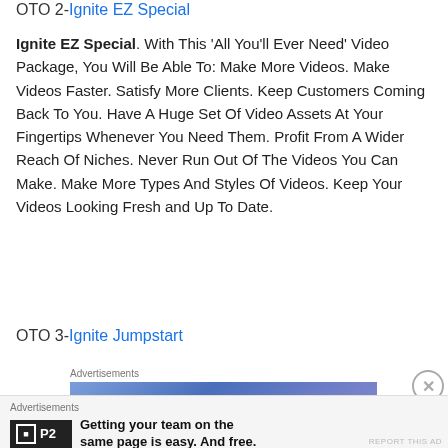OTO 2-Ignite EZ Special
Ignite EZ Special. With This ‘All You’ll Ever Need’ Video Package, You Will Be Able To: Make More Videos. Make Videos Faster. Satisfy More Clients. Keep Customers Coming Back To You. Have A Huge Set Of Video Assets At Your Fingertips Whenever You Need Them. Profit From A Wider Reach Of Niches. Never Run Out Of The Videos You Can Make. Make More Types And Styles Of Videos. Keep Your Videos Looking Fresh and Up To Date.
OTO 3-Ignite Jumpstart
[Figure (other): Advertisement banner with text 'Simplified pricing for' on blue/purple gradient background]
[Figure (other): Advertisement for P2 with black logo box and text: Getting your team on the same page is easy. And free.]